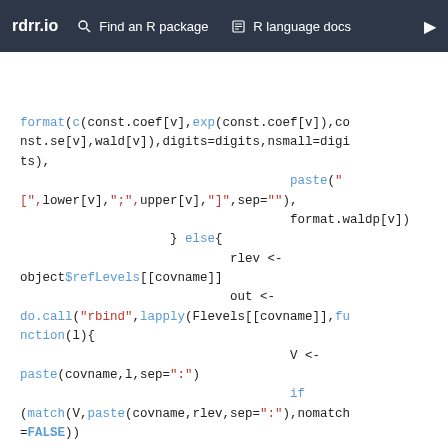rdrr.io   Find an R package   R language docs
format(c(const.coef[v],exp(const.coef[v]),const.se[v],wald[v]),digits=digits,nsmall=digits),
                                    paste("
[",lower[v],";",upper[v],"]",sep=""),
                                    format.waldp[v])
                    } else{
                            rlev <-
object$refLevels[[covname]]
                            out <-
do.call("rbind",lapply(Flevels[[covname]],function(l){
                                    V <-
paste(covname,l,sep=":")
                                    if
(match(V,paste(covname,rlev,sep=":"),nomatch=FALSE))


c(paste(covname,rlev,sep=":"),"0","1","--","--","--","--")